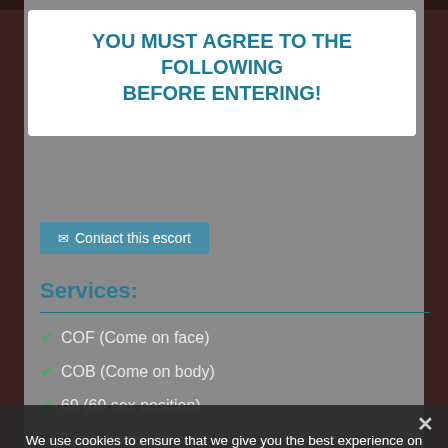YOU MUST AGREE TO THE FOLLOWING BEFORE ENTERING!
Contact this escort
Services:
COF (Come on face)
COB (Come on body)
69 (69 sex position)
Erotic massage
GFE (Girlfriend experience)
LT (Long Time. Usually overnight)
Extra services:
ervices: Straight sex - Oral se...wing blow job with condom - GFE - Girl Friend Experience - MAS Erotic Massage - CIF -
We use cookies to ensure that we give you the best experience on our website. If you continue to use this site we will assume that you are happy with it.